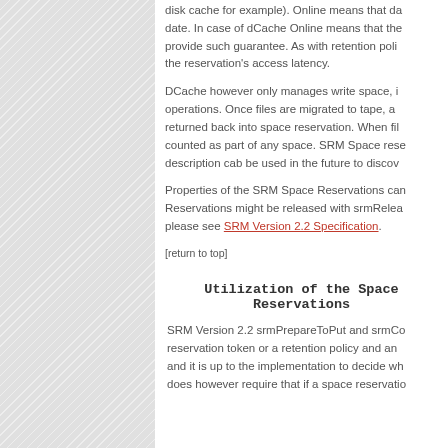disk cache for example). Online means that data is always immediately accessible and up to date. In case of dCache Online means that the data is on disk. Not all SRM implementations provide such guarantee. As with retention policy, clients can request access latency for the reservation's access latency.
DCache however only manages write space, i.e. space that can be used for write operations. Once files are migrated to tape, and if no copy is kept on disk, the space is returned back into space reservation. When files are deleted, that space is no longer counted as part of any space. SRM Space reservations have a description. This description cab be used in the future to discover space reservations.
Properties of the SRM Space Reservations can be discovered with srmGetSpaceMetaData. Reservations might be released with srmReleaseSpace. For more information, please see SRM Version 2.2 Specification.
[return to top]
Utilization of the Space Reservations
SRM Version 2.2 srmPrepareToPut and srmCopy (destination) requests may specify a reservation token or a retention policy and an access latency. If a reservation token is specified and it is up to the implementation to decide wh... does however require that if a space reservation...